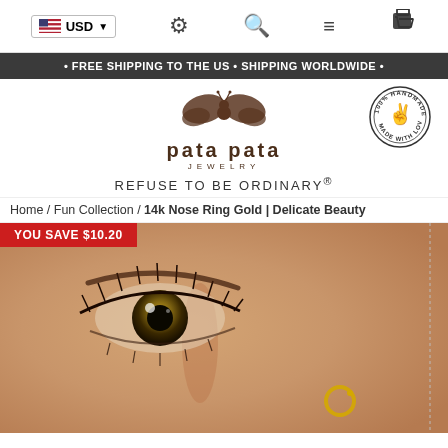USD | settings | search | menu | cart
• FREE SHIPPING TO THE US • SHIPPING WORLDWIDE •
[Figure (logo): Pata Pata Jewelry logo with butterfly/flower motif and '100% Handmade Made with Love' circular badge]
REFUSE TO BE ORDINARY®
Home / Fun Collection / 14k Nose Ring Gold | Delicate Beauty
YOU SAVE $10.20
[Figure (photo): Close-up photo of a woman's face showing her eye with long lashes and a gold nose ring on her nose]